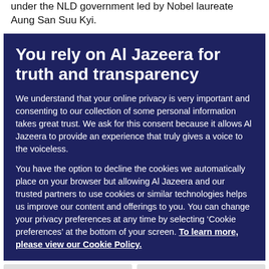under the NLD government led by Nobel laureate Aung San Suu Kyi.
You rely on Al Jazeera for truth and transparency
We understand that your online privacy is very important and consenting to our collection of some personal information takes great trust. We ask for this consent because it allows Al Jazeera to provide an experience that truly gives a voice to the voiceless.
You have the option to decline the cookies we automatically place on your browser but allowing Al Jazeera and our trusted partners to use cookies or similar technologies helps us improve our content and offerings to you. You can change your privacy preferences at any time by selecting ‘Cookie preferences’ at the bottom of your screen. To learn more, please view our Cookie Policy.